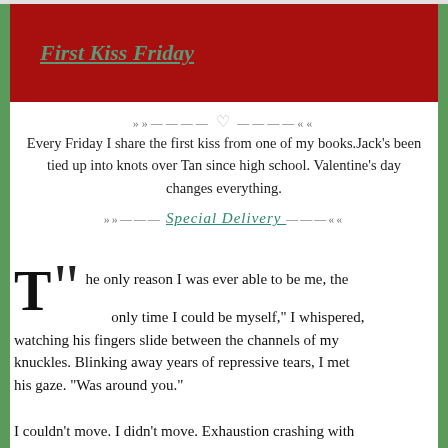First Kiss Friday
Every Friday I share the first kiss from one of my books.Jack's been tied up into knots over Tan since high school. Valentine's day changes everything.
Special Delivery
“The only reason I was ever able to be me, the only time I could be myself,” I whispered, watching his fingers slide between the channels of my knuckles. Blinking away years of repressive tears, I met his gaze. “Was around you.”
I couldn’t move. I didn’t move. Exhaustion crashing with